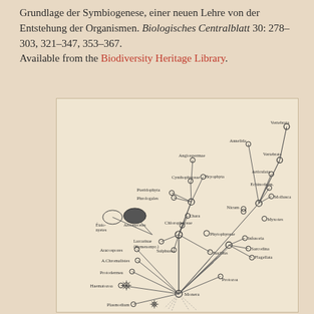Grundlage der Symbiogenese, einer neuen Lehre von der Entstehung der Organismen. Biologisches Centralblatt 30: 278–303, 321–347, 353–367.
Available from the Biodiversity Heritage Library.
[Figure (other): Historical phylogenetic tree diagram (Mereschkowski's tree of life) showing evolutionary relationships between organisms, with labeled nodes connected by branching lines, from Biologisches Centralblatt 1910.]